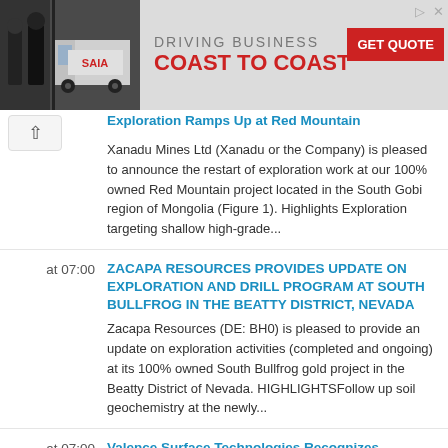[Figure (photo): Advertisement banner: Photo of two workers near a Saia truck on the left, text 'DRIVING BUSINESS COAST TO COAST' with a red GET QUOTE button on the right.]
Exploration Ramps Up at Red Mountain (partial title, truncated)
Xanadu Mines Ltd (Xanadu or the Company) is pleased to announce the restart of exploration work at our 100% owned Red Mountain project located in the South Gobi region of Mongolia (Figure 1). Highlights Exploration targeting shallow high-grade...
at 07:00
ZACAPA RESOURCES PROVIDES UPDATE ON EXPLORATION AND DRILL PROGRAM AT SOUTH BULLFROG IN THE BEATTY DISTRICT, NEVADA
Zacapa Resources (DE: BH0) is pleased to provide an update on exploration activities (completed and ongoing) at its 100% owned South Bullfrog gold project in the Beatty District of Nevada. HIGHLIGHTSFollow up soil geochemistry at the newly...
at 07:00
Valence Surface Technologies Recognizes Eastman GEORGIA First Responders
Valence Surface Technologies (VST) maintains a strong focus